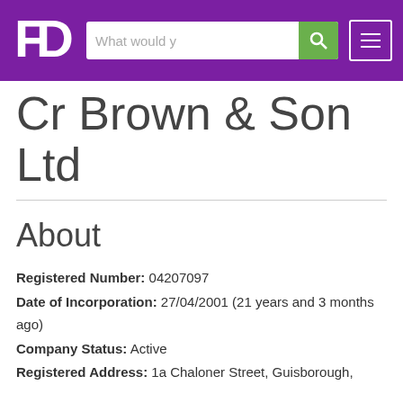[Figure (screenshot): Purple navigation header bar with FD logo, search box with placeholder 'What would y', green search button with magnifier icon, and white hamburger menu button on the right]
Cr Brown & Son Ltd
About
Registered Number: 04207097
Date of Incorporation: 27/04/2001 (21 years and 3 months ago)
Company Status: Active
Registered Address: 1a Chaloner Street, Guisborough,